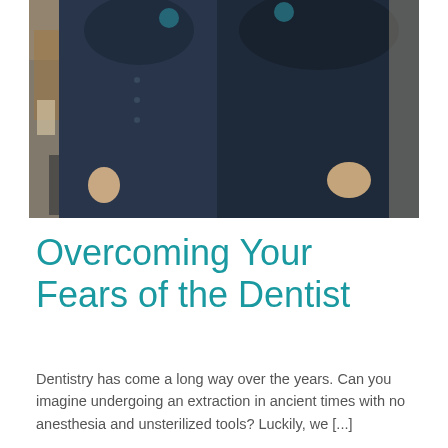[Figure (photo): Two dental staff members wearing dark navy blue scrubs/uniforms standing together in a dental office. A sink and cabinetry are visible in the background on the left side.]
Overcoming Your Fears of the Dentist
Dentistry has come a long way over the years. Can you imagine undergoing an extraction in ancient times with no anesthesia and unsterilized tools? Luckily, we [...]